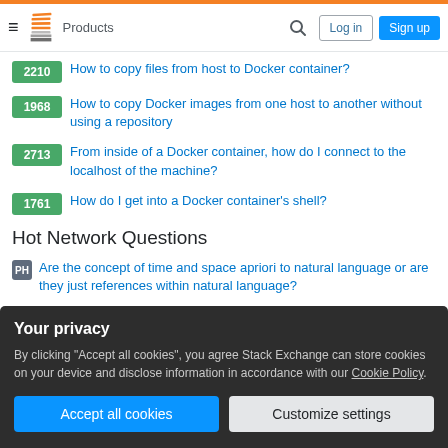≡ [Stack Exchange logo] Products 🔍 Log in Sign up
2210 How to copy files from host to Docker container?
1968 How to copy Docker images from one host to another without using a repository
2713 From inside of a Docker container, how do I connect to the localhost of the machine?
1761 How do I get into a Docker container's shell?
Hot Network Questions
Are the concept of time and space apriori to natural language or are they just references within natural language?
Your privacy
By clicking "Accept all cookies", you agree Stack Exchange can store cookies on your device and disclose information in accordance with our Cookie Policy.
[Accept all cookies] [Customize settings]